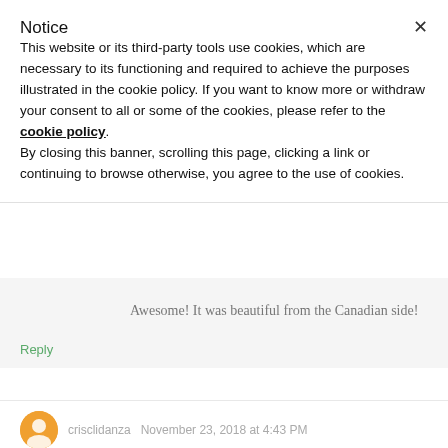Notice
This website or its third-party tools use cookies, which are necessary to its functioning and required to achieve the purposes illustrated in the cookie policy. If you want to know more or withdraw your consent to all or some of the cookies, please refer to the cookie policy.
By closing this banner, scrolling this page, clicking a link or continuing to browse otherwise, you agree to the use of cookies.
Awesome! It was beautiful from the Canadian side!
Reply
crisclidanza  November 23, 2018 at 4:43 PM